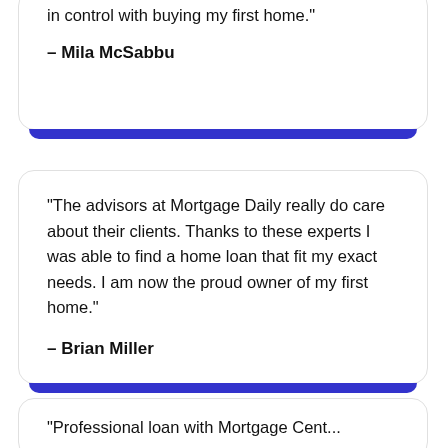in control with buying my first home.
– Mila McSabbu
“The advisors at Mortgage Daily really do care about their clients. Thanks to these experts I was able to find a home loan that fit my exact needs. I am now the proud owner of my first home.”
– Brian Miller
“Professional loan with Mortgage Cent...